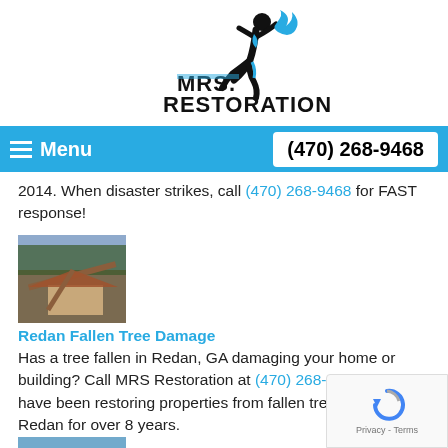[Figure (logo): MRS. Restoration logo with stylized figure running with blue flame/water element above bold text MRS. RESTORATION]
≡ Menu   (470) 268-9468
2014. When disaster strikes, call (470) 268-9468 for FAST response!
[Figure (photo): Thumbnail photo of fallen tree on a building/structure with visible structural damage]
Redan Fallen Tree Damage
Has a tree fallen in Redan, GA damaging your home or building? Call MRS Restoration at (470) 268-9468. We have been restoring properties from fallen tree damage in Redan for over 8 years.
[Figure (photo): Thumbnail photo partially visible at bottom of page showing water damage or flood scene]